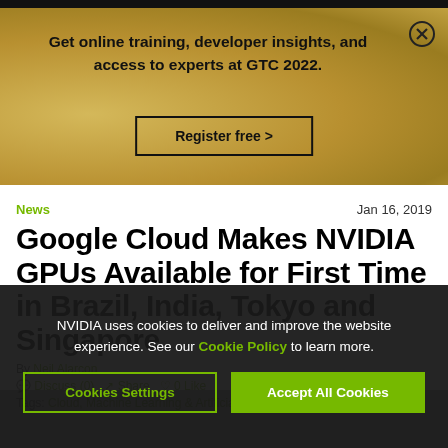[Figure (screenshot): Gold/tan textured banner advertisement for NVIDIA GTC 2022 with text and register button]
Get online training, developer insights, and access to experts at GTC 2022.
Register free >
News
Jan 16, 2019
Google Cloud Makes NVIDIA GPUs Available for First Time in Brazil, India, Tokyo and Singapore
By Neil Alarcon
Discuss (0)  Share  0 Like
Tags: Cloud, Machine Learning & Artificial Intelligence, News
NVIDIA uses cookies to deliver and improve the website experience. See our Cookie Policy to learn more.
Cookies Settings
Accept All Cookies